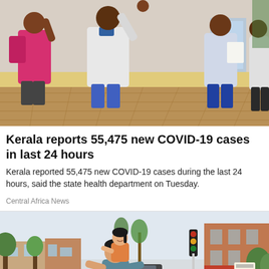[Figure (photo): Health workers checking patients at what appears to be a medical facility entrance, one wearing a white coat, others in colorful clothing, on a brick/tile floor corridor]
Kerala reports 55,475 new COVID-19 cases in last 24 hours
Kerala reported 55,475 new COVID-19 cases during the last 24 hours, said the state health department on Tuesday.
Central Africa News
[Figure (photo): A man carrying a young child on his back on a suburban street, cars and buildings visible in the background, sunny day]